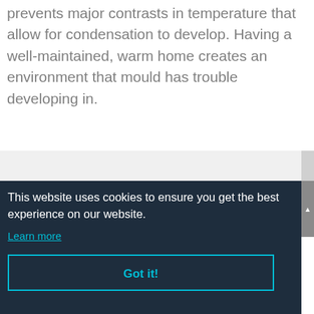prevents major contrasts in temperature that allow for condensation to develop. Having a well-maintained, warm home creates an environment that mould has trouble developing in.
This website uses cookies to ensure you get the best experience on our website.
Learn more
Got it!